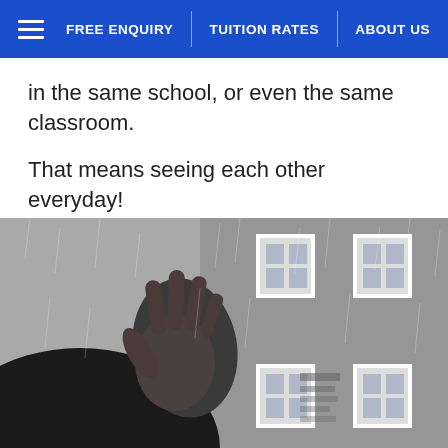FREE ENQUIRY | TUITION RATES | ABOUT US
in the same school, or even the same classroom.
That means seeing each other everyday!
How awkward...
[Figure (photo): Black and white photo of a hand pressed against a rainy window, with a building featuring multiple windows visible in the background.]